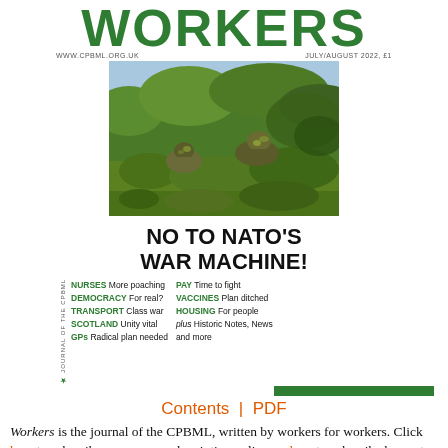WORKERS
WWW.CPBML.ORG.UK    JULY/AUGUST 2022, £1
[Figure (photo): Two soldiers in camouflage ghillie suits moving through dense green shrubbery and grass in a field exercise.]
NO TO NATO'S WAR MACHINE!
NURSES More poaching   PAY Time to fight
DEMOCRACY For real?   VACCINES Plan ditched
TRANSPORT Class war   HOUSING For people
SCOTLAND Unity vital   plus Historic Notes, News
GPs Radical plan needed   and more
Contents | PDF
Workers is the journal of the CPBML, written by workers for workers. Click here to subscribe or renew a subscription online, or here to subscribe by post. If you would like a free sample of Workers published before